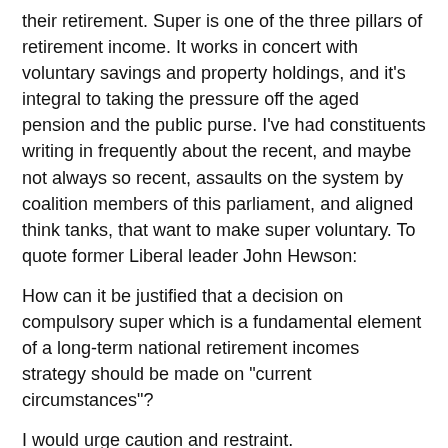Australians now have some $2.1 trillion tucked away for their retirement. Super is one of the three pillars of retirement income. It works in concert with voluntary savings and property holdings, and it's integral to taking the pressure off the aged pension and the public purse. I've had constituents writing in frequently about the recent, and maybe not always so recent, assaults on the system by coalition members of this parliament, and aligned think tanks, that want to make super voluntary. To quote former Liberal leader John Hewson:
How can it be justified that a decision on compulsory super which is a fundamental element of a long-term national retirement incomes strategy should be made on "current circumstances"?
I would urge caution and restraint.
We only need to look at other OECD countries to see that many people have little saved for retirement and the government interventions that that results in cost taxpayers enormously.